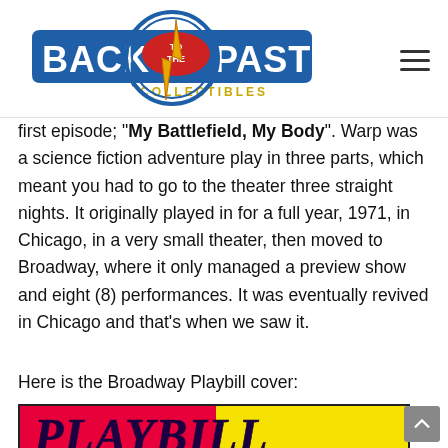Back to the Past Collectibles
first episode; "My Battlefield, My Body". Warp was a science fiction adventure play in three parts, which meant you had to go to the theater three straight nights. It originally played in for a full year, 1971, in Chicago, in a very small theater, then moved to Broadway, where it only managed a preview show and eight (8) performances. It was eventually revived in Chicago and that's when we saw it.
Here is the Broadway Playbill cover:
[Figure (photo): Playbill cover image showing the word PLAYBILL in large decorative letters on a red and yellow background]